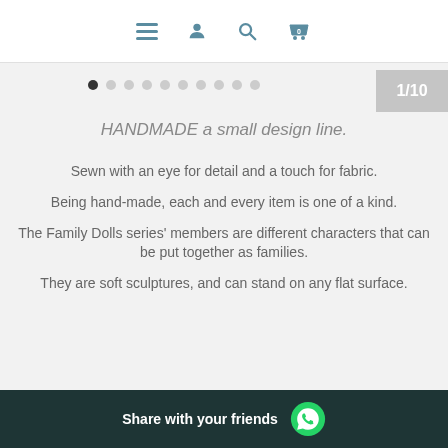[Figure (screenshot): Navigation bar with hamburger menu, user icon, search icon, and cart icon (showing 0)]
[Figure (other): Pagination dots: 10 dots with first dot active, and a '1/10' counter badge on the right]
HANDMADE a small design line.
Sewn with an eye for detail and a touch for fabric.
Being hand-made, each and every item is one of a kind.
The Family Dolls series' members are different characters that can be put together as families.
They are soft sculptures, and can stand on any flat surface.
Share with your friends